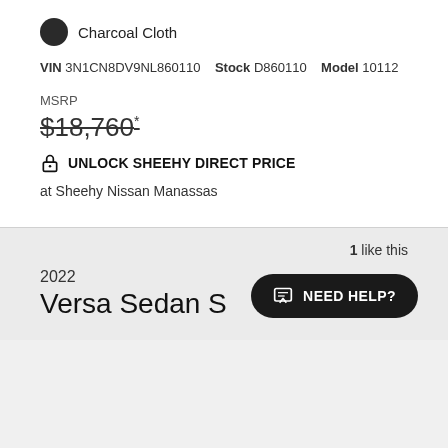Charcoal Cloth
VIN 3N1CN8DV9NL860110  Stock D860110  Model 10112
MSRP
$18,760*
UNLOCK SHEEHY DIRECT PRICE
at Sheehy Nissan Manassas
1 like this
2022
Versa Sedan S
NEED HELP?